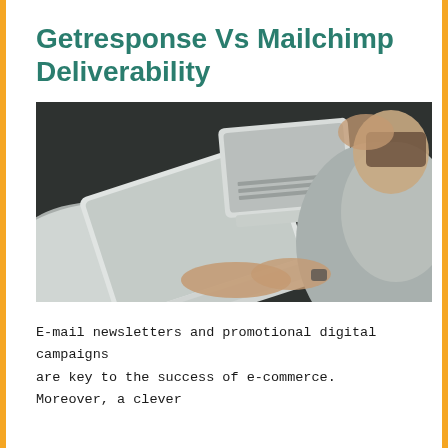Getresponse Vs Mailchimp Deliverability
[Figure (photo): Overhead view of a person in a grey sweater typing on a MacBook laptop at a dark desk, with another laptop/tablet visible in the upper middle of the frame and a second person's hand visible at the top right.]
E-mail newsletters and promotional digital campaigns are key to the success of e-commerce. Moreover, a clever